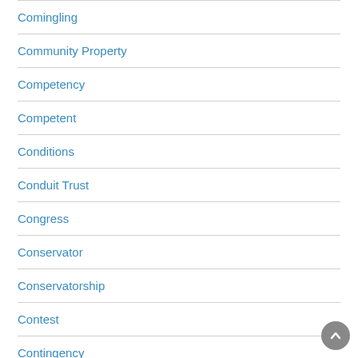Comingling
Community Property
Competency
Competent
Conditions
Conduit Trust
Congress
Conservator
Conservatorship
Contest
Contingency
Contingent